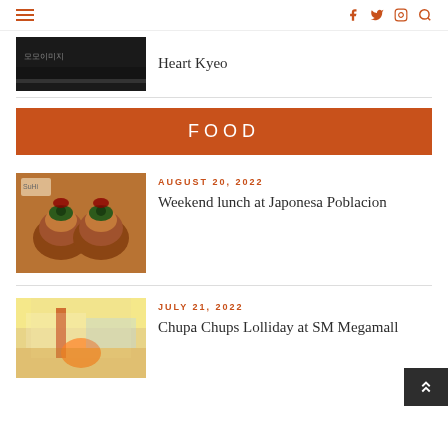Navigation bar with hamburger menu and social icons (Facebook, Twitter, Instagram, Search)
[Figure (screenshot): Dark thumbnail image of a video or article]
Heart Kyeo
FOOD
[Figure (photo): Photo of Japanese food dishes - salmon/tuna tartare stacked appetizers on a plate]
AUGUST 20, 2022
Weekend lunch at Japonesa Poblacion
[Figure (photo): Photo of a mall interior with decorations and a crowd]
JULY 21, 2022
Chupa Chups Lolliday at SM Megamall